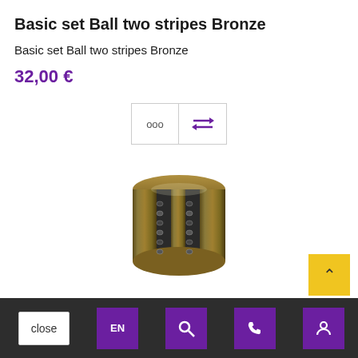Basic set Ball two stripes Bronze
Basic set Ball two stripes Bronze
32,00 €
[Figure (screenshot): Toolbar with two buttons: one showing 'ooo' (more options) and one showing double horizontal arrows (compare/swap) icon in purple]
[Figure (photo): Bronze cylindrical bead with two stripes of dark crystals around it]
close | EN | search | phone | account